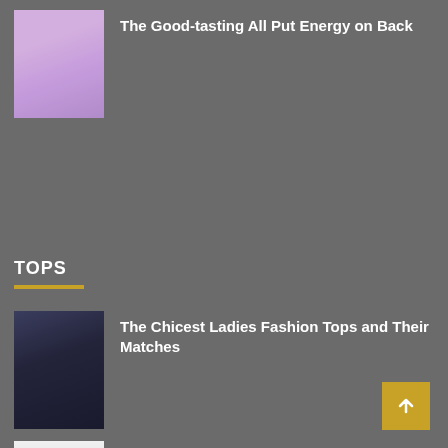[Figure (photo): Woman wearing a light purple/lavender backless dress, viewed from behind, with dark hair]
The Good-tasting All Put Energy on Back
TOPS
[Figure (photo): Person wearing a dark navy blue top with fringe/tassels and black ripped jeans]
The Chicest Ladies Fashion Tops and Their Matches
[Figure (photo): Person wearing a white top and black ripped skinny jeans]
Three Basic Items That Are Definitely Worthy of Buying